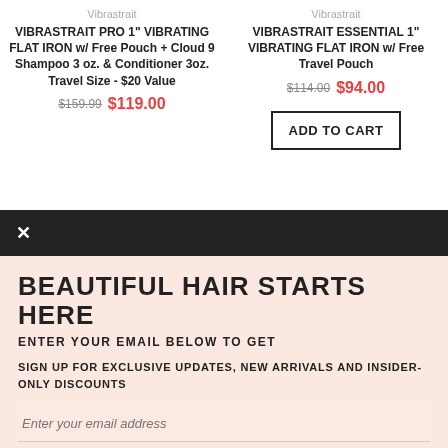Vibrastrait
VIBRASTRAIT PRO 1" VIBRATING FLAT IRON w/ Free Pouch + Cloud 9 Shampoo 3 oz. & Conditioner 3oz. Travel Size - $20 Value
$159.99  $119.00
Vibrastrait
VIBRASTRAIT ESSENTIAL 1" VIBRATING FLAT IRON w/ Free Travel Pouch
$114.00  $94.00
ADD TO CART
BEAUTIFUL HAIR STARTS HERE
ENTER YOUR EMAIL BELOW TO GET
SIGN UP FOR EXCLUSIVE UPDATES, NEW ARRIVALS AND INSIDER-ONLY DISCOUNTS
Enter your email address
SUBSCRIBE